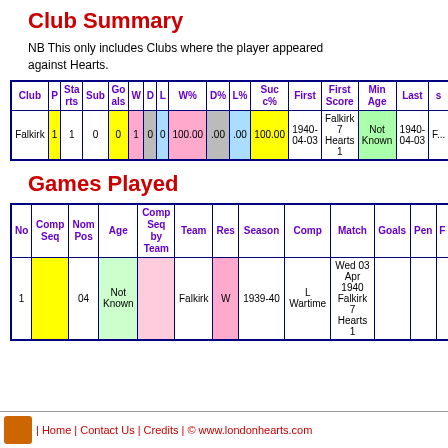Club Summary
NB This only includes Clubs where the player appeared against Hearts.
| Club | P | Starts | Sub | Goals | W | D | L | W% | D% | L% | Succ% | First | First Score | Min Age | Last | s |
| --- | --- | --- | --- | --- | --- | --- | --- | --- | --- | --- | --- | --- | --- | --- | --- | --- |
| Falkirk | 1 | 1 | 0 | 0 | 1 | 0 | 0 | 100.00 | .00 | .00 | 100.00 | 1940-04-03 | Falkirk 7 Hearts 1 | Not Known | 1940-04-03 | F... |
Games Played
| No | Comp Seq | Nom Pos | Age | Comp Seq by Team | Team | Res | Season | Comp | Match | Goals | Pen | F |
| --- | --- | --- | --- | --- | --- | --- | --- | --- | --- | --- | --- | --- |
| 1 |  | 04 | Not Known |  | Falkirk | W | 1939-40 | L Wartime | Wed 03 Apr 1940 Falkirk 7 Hearts 1 |  |  |  |
| Home | Contact Us | Credits | © www.londonhearts.com